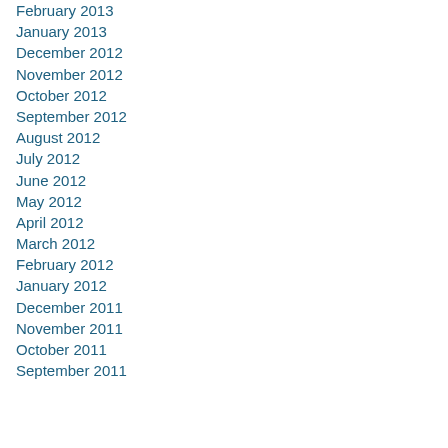February 2013
January 2013
December 2012
November 2012
October 2012
September 2012
August 2012
July 2012
June 2012
May 2012
April 2012
March 2012
February 2012
January 2012
December 2011
November 2011
October 2011
September 2011